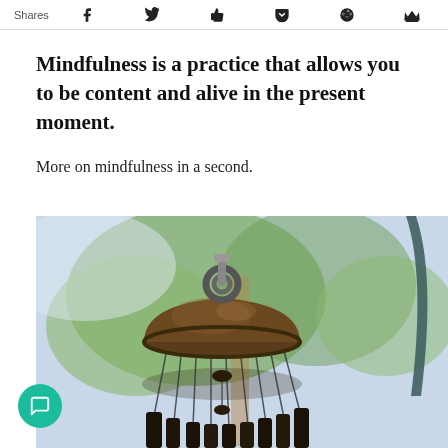Shares  [social icons: Facebook, Twitter, Like, Pocket, Reddit, Crown]
Mindfulness is a practice that allows you to be content and alive in the present moment.
More on mindfulness in a second.
[Figure (photo): Close-up photo of a wind chime with a dark bronze dome cap and hanging metal tubes, with blurred green trees and a dark pole in the background.]